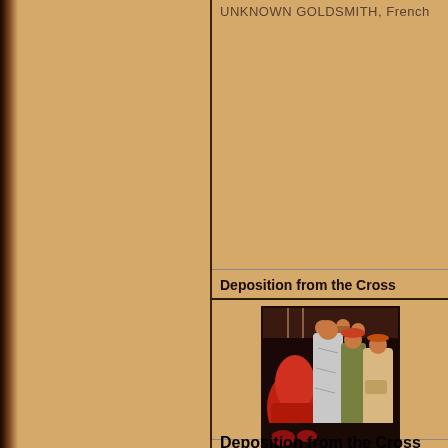UNKNOWN GOLDSMITH, French
Deposition from the Cross
[Figure (illustration): Painting detail of Deposition from the Cross by Fra Angelico, showing several figures in medieval dress, including a red-robed kneeling figure and standing figures in white, green, and tan robes]
Deposition from the Cross by ANGELICO, Fra
Deposition from the Cross
[Figure (illustration): Partial painting detail of Deposition from the Cross, mostly dark/black]